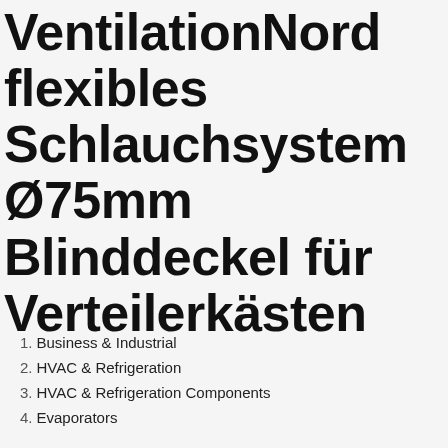VentilationNord flexibles Schlauchsystem Ø75mm Blinddeckel für Verteilerkästen
1. Business & Industrial
2. HVAC & Refrigeration
3. HVAC & Refrigeration Components
4. Evaporators